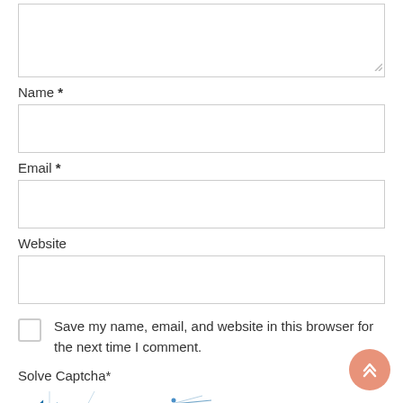Name *
Email *
Website
Save my name, email, and website in this browser for the next time I comment.
Solve Captcha*
[Figure (other): CAPTCHA image showing the number 7080 with decorative lines and a blue refresh/reload icon]